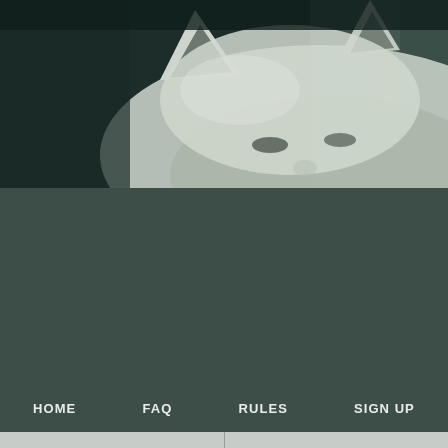[Figure (photo): Close-up of a white/grey cat's head from above, showing ears and top of head against a dark blue-grey background. The image has a muted, desaturated tone.]
HOME   FAQ   RULES   SIGN UP